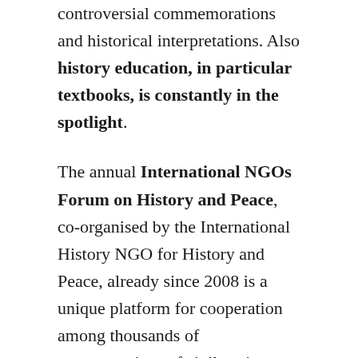controversial commemorations and historical interpretations. Also history education, in particular textbooks, is constantly in the spotlight.
The annual International NGOs Forum on History and Peace, co-organised by the International History NGO for History and Peace, already since 2008 is a unique platform for cooperation among thousands of representatives of civil society, education and research with a focus on strengthening cooperation between China, South Korea and Japan, as well as fostering co-operation across East Asia and beyond. With many strong civil society partners, the Forum has initiated and partnered on a variety of projects and